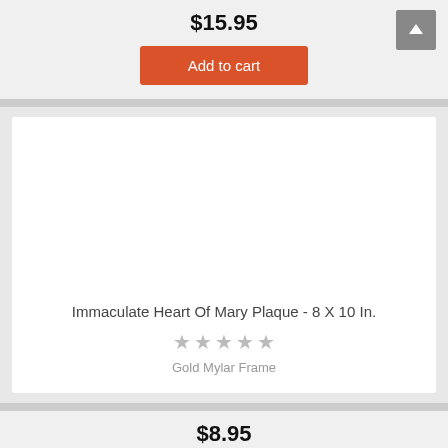$15.95
Add to cart
[Figure (photo): Product image area for Immaculate Heart Of Mary Plaque (blank/white area)]
Immaculate Heart Of Mary Plaque - 8 X 10 In.
★★★★★ (5 empty stars rating)
Gold Mylar Frame
$8.95
Add to cart (partial)